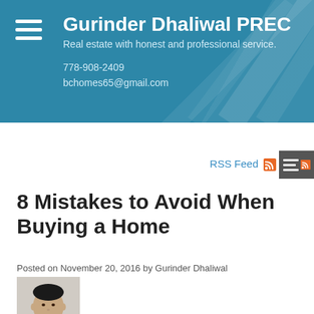Gurinder Dhaliwal PREC
Real estate with honest and professional service.
778-908-2409
bchomes65@gmail.com
RSS Feed
8 Mistakes to Avoid When Buying a Home
Posted on November 20, 2016 by Gurinder Dhaliwal
[Figure (photo): Headshot of Gurinder Dhaliwal, a man in a dark suit and tie]
[Figure (other): Social media icons: Twitter (blue bird) and Facebook (blue f)]